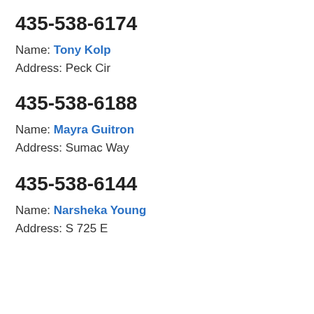435-538-6174
Name: Tony Kolp
Address: Peck Cir
435-538-6188
Name: Mayra Guitron
Address: Sumac Way
435-538-6144
Name: Narsheka Young
Address: S 725 E